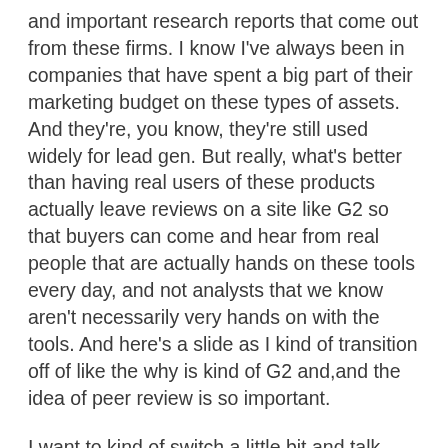and important research reports that come out from these firms. I know I've always been in companies that have spent a big part of their marketing budget on these types of assets. And they're, you know, they're still used widely for lead gen. But really, what's better than having real users of these products actually leave reviews on a site like G2 so that buyers can come and hear from real people that are actually hands on these tools every day, and not analysts that we know aren't necessarily very hands on with the tools. And here's a slide as I kind of transition off of like the why is kind of G2 and,and the idea of peer review is so important.
I want to kind of switch a little bit and talk about the marketing solutions that G2 offers and how to think about them for your own strategy. So, we'd like to say that we power customer led growth for b2b. And we kind of do this by helping companies. Any company